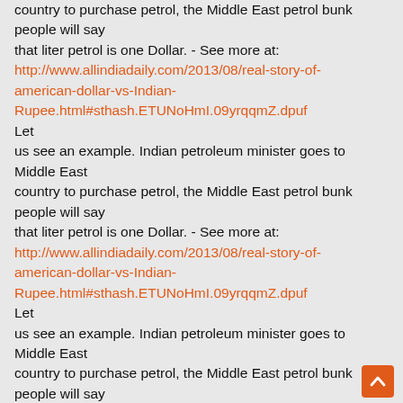country to purchase petrol, the Middle East petrol bunk people will say that liter petrol is one Dollar. - See more at: http://www.allindiadaily.com/2013/08/real-story-of-american-dollar-vs-Indian-Rupee.html#sthash.ETUNoHmI.09yrqqmZ.dpuf Let us see an example. Indian petroleum minister goes to Middle East country to purchase petrol, the Middle East petrol bunk people will say that liter petrol is one Dollar. - See more at: http://www.allindiadaily.com/2013/08/real-story-of-american-dollar-vs-Indian-Rupee.html#sthash.ETUNoHmI.09yrqqmZ.dpuf Let us see an example. Indian petroleum minister goes to Middle East country to purchase petrol, the Middle East petrol bunk people will say that liter petrol is one Dollar. - See more at: http://www.allindiadaily.com/2013/08/real-story-of-american-dollar-vs-Indian-Rupee.html#sthash.ETUNoHmI.09yrqqmZ.dpuf Let